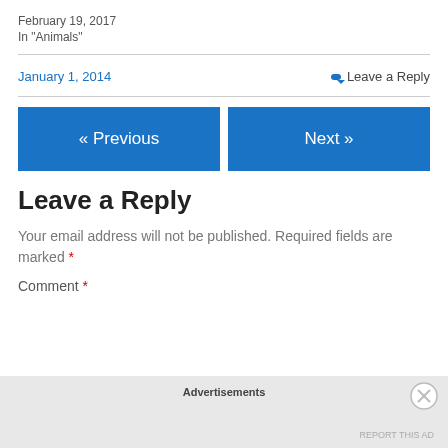February 19, 2017
In "Animals"
January 1, 2014
Leave a Reply
« Previous
Next »
Leave a Reply
Your email address will not be published. Required fields are marked *
Comment *
Advertisements